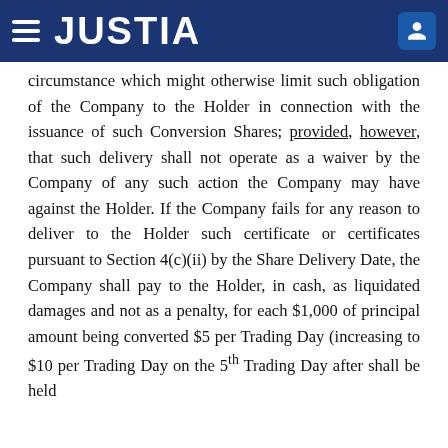JUSTIA
circumstance which might otherwise limit such obligation of the Company to the Holder in connection with the issuance of such Conversion Shares; provided, however, that such delivery shall not operate as a waiver by the Company of any such action the Company may have against the Holder. If the Company fails for any reason to deliver to the Holder such certificate or certificates pursuant to Section 4(c)(ii) by the Share Delivery Date, the Company shall pay to the Holder, in cash, as liquidated damages and not as a penalty, for each $1,000 of principal amount being converted $5 per Trading Day (increasing to $10 per Trading Day on the 5th Trading Day after the delivery date)